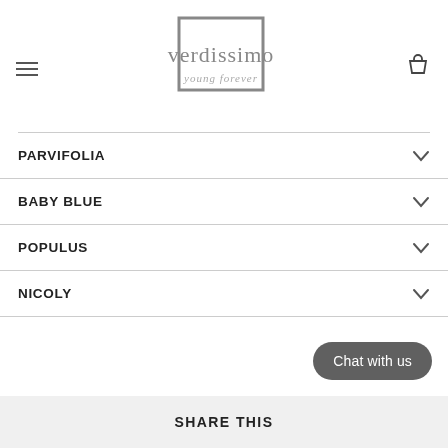verdissimo young forever
PARVIFOLIA
BABY BLUE
POPULUS
NICOLY
Chat with us
SHARE THIS